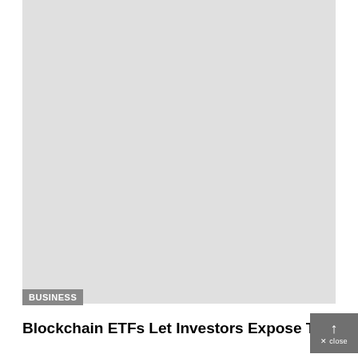[Figure (photo): Large light gray placeholder image area occupying the upper portion of the page]
BUSINESS
Blockchain ETFs Let Investors Expose Thei...